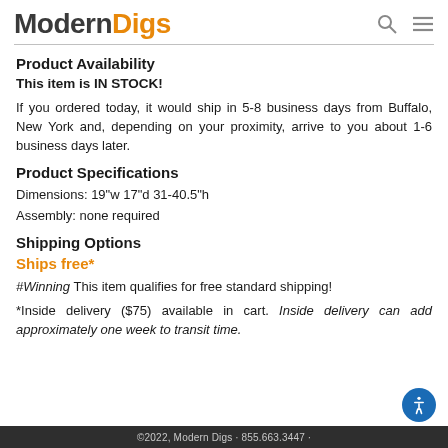Modern Digs
Product Availability
This item is IN STOCK!
If you ordered today, it would ship in 5-8 business days from Buffalo, New York and, depending on your proximity, arrive to you about 1-6 business days later.
Product Specifications
Dimensions: 19"w 17"d 31-40.5"h
Assembly: none required
Shipping Options
Ships free*
#Winning This item qualifies for free standard shipping!
*Inside delivery ($75) available in cart. Inside delivery can add approximately one week to transit time.
©2022, Modern Digs · 855.663.3447 ·